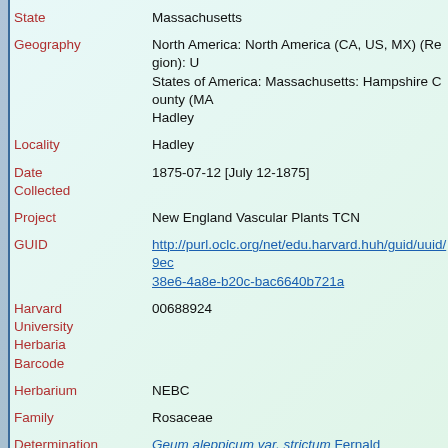| Field | Value |
| --- | --- |
| State | Massachusetts |
| Geography | North America: North America (CA, US, MX) (Region): United States of America: Massachusetts: Hampshire County (MA): Hadley |
| Locality | Hadley |
| Date Collected | 1875-07-12 [July 12-1875] |
| Project | New England Vascular Plants TCN |
| GUID | http://purl.oclc.org/net/edu.harvard.huh/guid/uuid/9ec...38e6-4a8e-b20c-bac6640b721a |
| Harvard University Herbaria Barcode | 00688924 |
| Herbarium | NEBC |
| Family | Rosaceae |
| Determination | Geum aleppicum var. strictum Fernald |
| Determination Remarks | [is filed under name] [is Current name] |
| Preparation Type | Sheet |
| Preparation Method | Pressed |